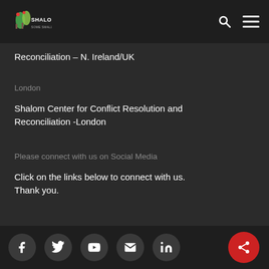Shalom [logo] | Search | Menu
Reconciliation – N. Ireland/UK
London
Shalom Center for Conflict Resolution and Reconciliation -London
Please connect with us on Social Media
Click on the links below to connect with us. Thank you.
[Figure (infographic): Social media icons row: Facebook, Twitter, YouTube, Email, LinkedIn, with a red share button overlay]